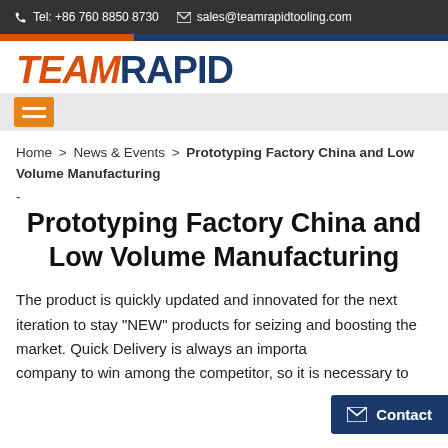Tel: +86 760 8850 8730  sales@teamrapidtooling.com
[Figure (logo): Team Rapid logo with orange italic TEAM and dark blue RAPID text]
Home > News & Events > Prototyping Factory China and Low Volume Manufacturing
-
Prototyping Factory China and Low Volume Manufacturing
The product is quickly updated and innovated for the next iteration to stay "NEW" products for seizing and boosting the market. Quick Delivery is always an importa... company to win among the competitor, so it is necessary to